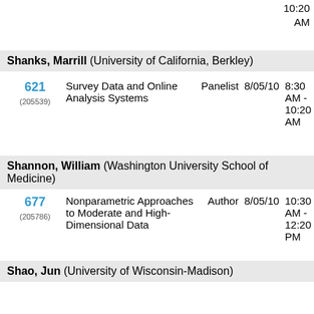10:20 AM
| Num | Title | Role | Date | Time |
| --- | --- | --- | --- | --- |
| 621 (205539) | Survey Data and Online Analysis Systems | Panelist | 8/05/10 | 8:30 AM - 10:20 AM |
Shanks, Marrill (University of California, Berkley)
Shannon, William (Washington University School of Medicine)
| Num | Title | Role | Date | Time |
| --- | --- | --- | --- | --- |
| 677 (205786) | Nonparametric Approaches to Moderate and High-Dimensional Data | Author | 8/05/10 | 10:30 AM - 12:20 PM |
Shao, Jun (University of Wisconsin-Madison)
| Num | Title | Role | Date | Time |
| --- | --- | --- | --- | --- |
| 611 (205583) | Student Paper Competition Winners | Author | 8/05/10 | 8:30 AM - 10:20 AM |